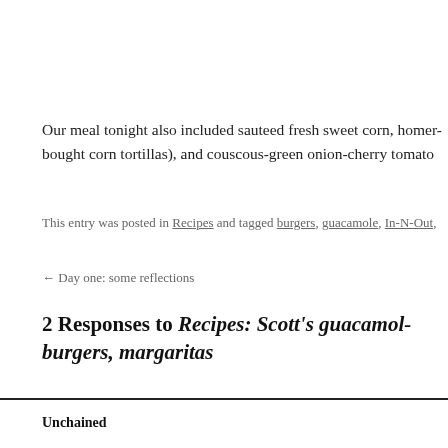Our meal tonight also included sauteed fresh sweet corn, homer- bought corn tortillas), and couscous-green onion-cherry tomato
This entry was posted in Recipes and tagged burgers, guacamole, In-N-Out,
← Day one: some reflections
2 Responses to Recipes: Scott's guacamol- burgers, margaritas
Unchained